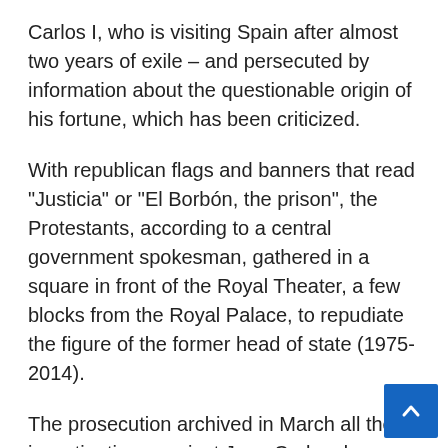Carlos I, who is visiting Spain after almost two years of exile – and persecuted by information about the questionable origin of his fortune, which has been criticized.
With republican flags and banners that read "Justicia" or "El Borbón, the prison", the Protestants, according to a central government spokesman, gathered in a square in front of the Royal Theater, a few blocks from the Royal Palace, to repudiate the figure of the former head of state (1975-2014).
The prosecution archived in March all the investigations against Juan Carlos de Borbón, but the revelations about the unclear origin of his fortune seriously damaged his image, apprecia until then for its role in the transition to democracy